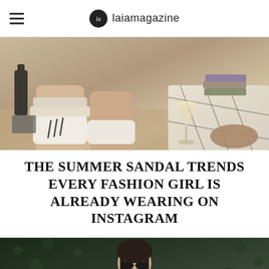laiamagazine
[Figure (photo): Close-up photo of legs wearing white Adidas socks and sandals resting on a table, with a wine glass, stacked books, and a decorative rug visible in the background]
THE SUMMER SANDAL TRENDS EVERY FASHION GIRL IS ALREADY WEARING ON INSTAGRAM
[Figure (photo): Photo of a woman with dark hair wearing sunglasses and a beige vest/jacket over a dark turtleneck, standing in front of a dark leafy background]